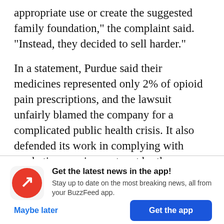appropriate use or create the suggested family foundation," the complaint said. "Instead, they decided to sell harder."
In a statement, Purdue said their medicines represented only 2% of opioid pain prescriptions, and the lawsuit unfairly blamed the company for a complicated public health crisis. It also defended its work in complying with marketing requirements set by the previous lawsuit settlement, and its efforts to make OxyContin less prone to abuse.
[Figure (logo): BuzzFeed red circular logo with white trending arrow icon]
Get the latest news in the app! Stay up to date on the most breaking news, all from your BuzzFeed app.
Maybe later
Get the app